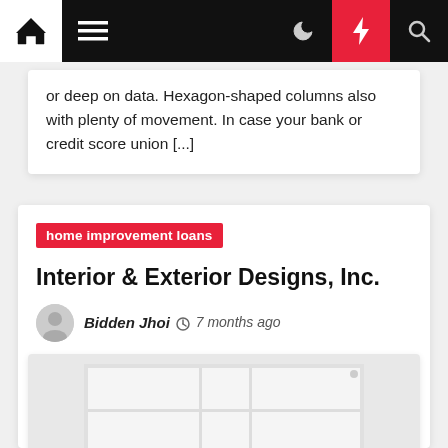Navigation bar with home, menu, moon, bolt, and search icons
or deep on data. Hexagon-shaped columns also with plenty of movement. In case your bank or credit score union [...]
home improvement loans
Interior & Exterior Designs, Inc.
Bidden Jhoi  7 months ago
[Figure (photo): White modular furniture or shelving unit, interior design photo]